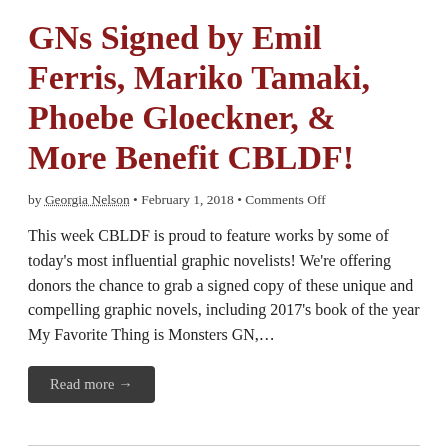GNs Signed by Emil Ferris, Mariko Tamaki, Phoebe Gloeckner, & More Benefit CBLDF!
by Georgia Nelson • February 1, 2018 • Comments Off
This week CBLDF is proud to feature works by some of today's most influential graphic novelists! We're offering donors the chance to grab a signed copy of these unique and compelling graphic novels, including 2017's book of the year My Favorite Thing is Monsters GN,…
Read more →
GNs Signed by Art Spiegelman, Neil Gaiman, Gene Colette, & More Benefit